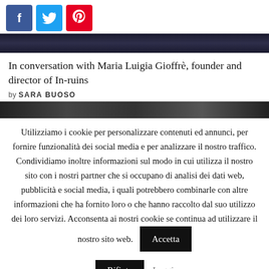[Figure (other): Social sharing buttons: Facebook (blue), Twitter (light blue), Pinterest (red)]
[Figure (photo): Dark atmospheric image strip at top of article]
In conversation with Maria Luigia Gioffrè, founder and director of In-ruins
by SARA BUOSO
[Figure (photo): Dark atmospheric image strip below byline]
Utilizziamo i cookie per personalizzare contenuti ed annunci, per fornire funzionalità dei social media e per analizzare il nostro traffico. Condividiamo inoltre informazioni sul modo in cui utilizza il nostro sito con i nostri partner che si occupano di analisi dei dati web, pubblicità e social media, i quali potrebbero combinarle con altre informazioni che ha fornito loro o che hanno raccolto dal suo utilizzo dei loro servizi. Acconsenta ai nostri cookie se continua ad utilizzare il nostro sito web.
Accetta
Rifiuta
Leggi